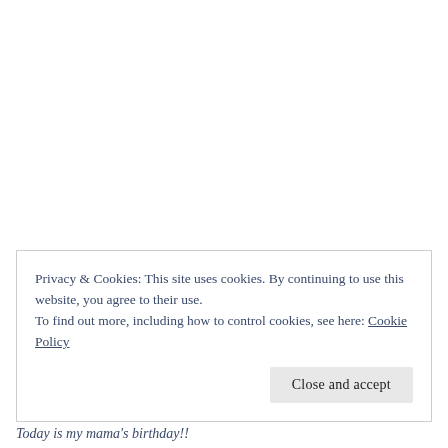Privacy & Cookies: This site uses cookies. By continuing to use this website, you agree to their use.
To find out more, including how to control cookies, see here: Cookie Policy
Close and accept
Today is my mama's birthday!!